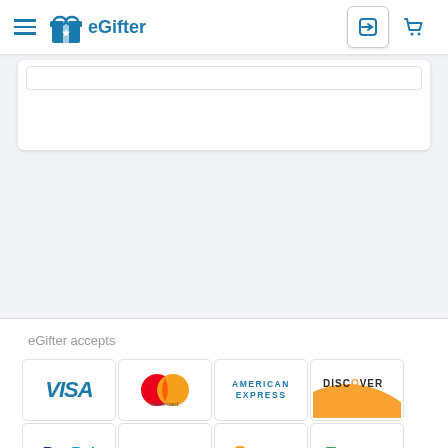[Figure (screenshot): eGifter website header with hamburger menu, eGifter logo, login icon, and cart icon]
eGifter accepts
[Figure (logo): Visa logo]
[Figure (logo): Mastercard logo]
[Figure (logo): American Express logo]
[Figure (logo): Discover logo]
[Figure (logo): PayPal logo]
[Figure (logo): Venmo logo]
[Figure (logo): Bitcoin logo]
[Figure (logo): Bitcoin Cash logo]
[Figure (logo): Ethereum logo (partially visible)]
[Figure (logo): Litecoin logo (partially visible)]
[Figure (logo): Dogecoin logo (partially visible)]
[Figure (logo): Shiba Inu logo (partially visible)]